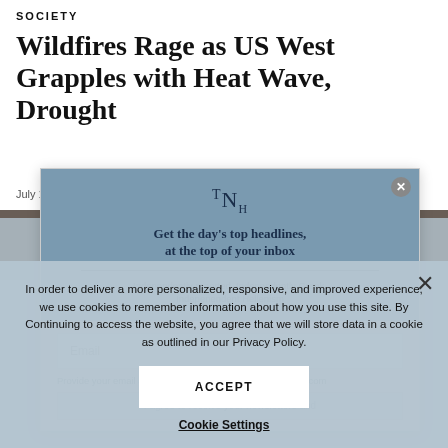SOCIETY
Wildfires Rage as US West Grapples with Heat Wave, Drought
July 12, 2021 | By Associated Press
[Figure (other): Newsletter subscription modal with TNH logo, tagline 'Get the day's top headlines, at the top of your inbox', subtitle 'Independently reported, Independently Greek, Indepenendent Hellenism', and an email input field.]
In order to deliver a more personalized, responsive, and improved experience, we use cookies to remember information about how you use this site. By Continuing to access the website, you agree that we will store data in a cookie as outlined in our Privacy Policy.
ACCEPT
Cookie Settings